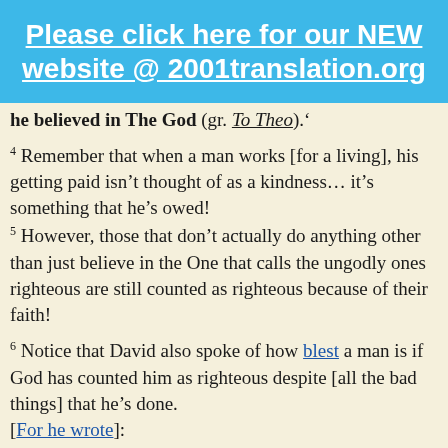Please click here for our NEW website @ 2001translation.org
he believed in The God (gr. To Theo).'
4 Remember that when a man works [for a living], his getting paid isn't thought of as a kindness… it's something that he's owed!
5 However, those that don't actually do anything other than just believe in the One that calls the ungodly ones righteous are still counted as righteous because of their faith!
6 Notice that David also spoke of how blest a man is if God has counted him as righteous despite [all the bad things] that he's done.
[For he wrote]:
7 'Blest are those forgiven for their lawless ways